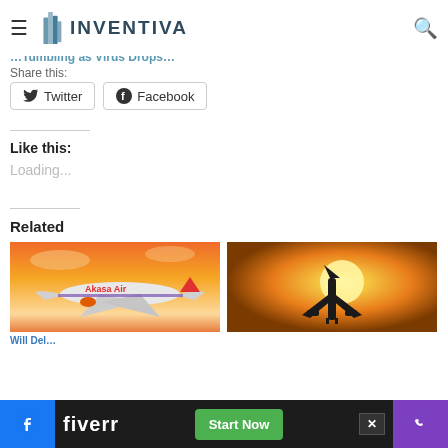INVENTIVA - navigation bar with hamburger menu and search icon
...Tumbling as Virus Drops...
Share this:
Twitter
Facebook
Like this:
Loading...
Related
[Figure (photo): Akasa Air airplane in flight against sunset sky]
[Figure (photo): Airplane silhouette against bright sun at dusk]
Will Del...
Fiverr advertisement bar with Start Now button; Facebook and phone icons on bottom bar